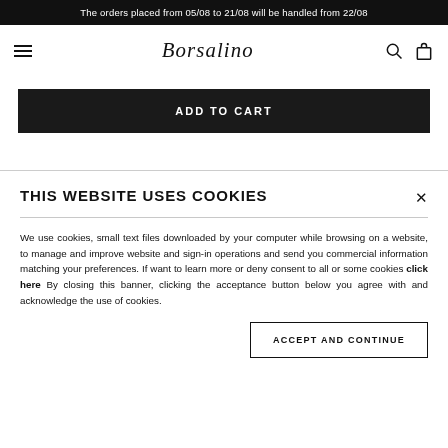The orders placed from 05/08 to 21/08 will be handled from 22/08
[Figure (logo): Borsalino brand logo in cursive script]
ADD TO CART
THIS WEBSITE USES COOKIES
We use cookies, small text files downloaded by your computer while browsing on a website, to manage and improve website and sign-in operations and send you commercial information matching your preferences. If want to learn more or deny consent to all or some cookies click here By closing this banner, clicking the acceptance button below you agree with and acknowledge the use of cookies.
ACCEPT AND CONTINUE